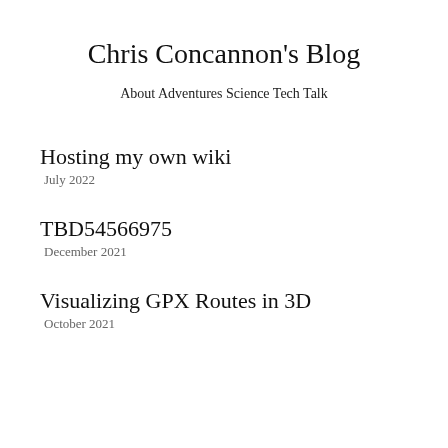Chris Concannon's Blog
About   Adventures   Science   Tech Talk
Hosting my own wiki
July 2022
TBD54566975
December 2021
Visualizing GPX Routes in 3D
October 2021